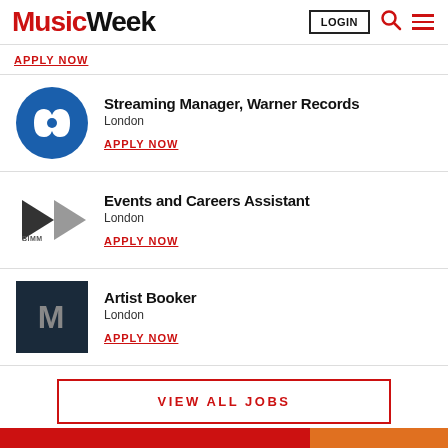Music Week — LOGIN search menu
APPLY NOW
Streaming Manager, Warner Records
London
APPLY NOW
Events and Careers Assistant
London
APPLY NOW
Artist Booker
London
APPLY NOW
VIEW ALL JOBS